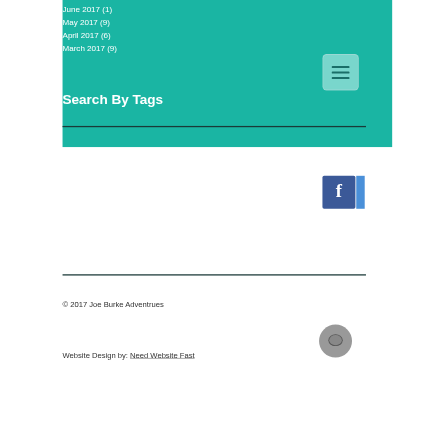June 2017 (1)
May 2017 (9)
April 2017 (6)
March 2017 (9)
Search By Tags
Follow Us
[Figure (logo): Facebook logo button - blue square with white 'f']
No tags yet.
© 2017 Joe Burke Adventrues
Website Design by: Need Website Fast